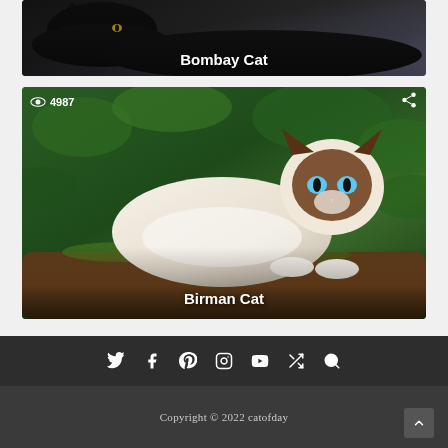[Figure (photo): Black cat (Bombay Cat) lying down, partially visible at top, with dark background. Caption reads 'Bombay Cat' overlaid at bottom.]
[Figure (photo): Birman cat with white and brown fur and blue eyes, sitting on a mossy log with green foliage background. View count 4987 shown top left. Share icon top right. Caption reads 'Birman Cat' overlaid at bottom.]
Copyright © 2022 catofday